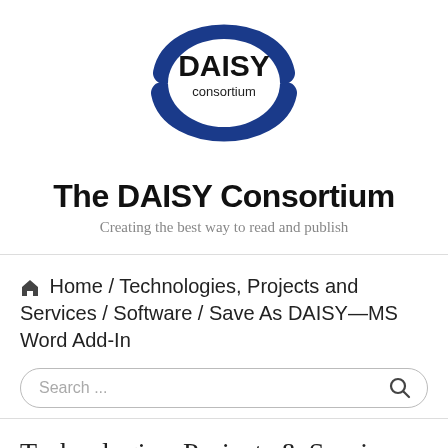[Figure (logo): DAISY Consortium logo: circular blue swoosh with DAISY consortium text in the center]
The DAISY Consortium
Creating the best way to read and publish
🏠 Home / Technologies, Projects and Services / Software / Save As DAISY—MS Word Add-In
Technologies, Projects & Services